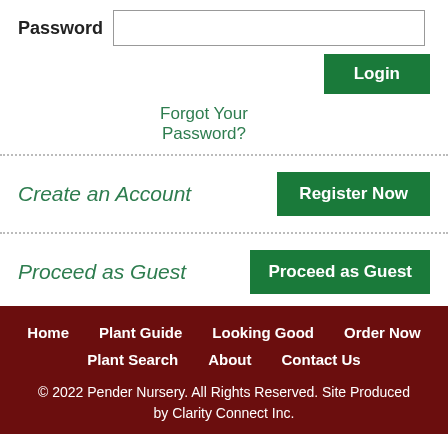Password
Login
Forgot Your Password?
Create an Account
Register Now
Proceed as Guest
Proceed as Guest
Home   Plant Guide   Looking Good   Order Now   Plant Search   About   Contact Us   © 2022 Pender Nursery. All Rights Reserved. Site Produced by Clarity Connect Inc.